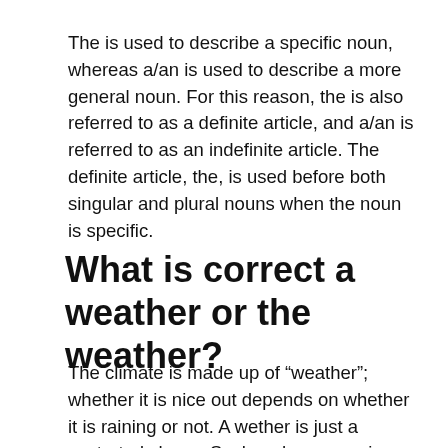The is used to describe a specific noun, whereas a/an is used to describe a more general noun. For this reason, the is also referred to as a definite article, and a/an is referred to as an indefinite article. The definite article, the, is used before both singular and plural nouns when the noun is specific.
What is correct a weather or the weather?
The climate is made up of “weather”; whether it is nice out depends on whether it is raining or not. A wether is just a castrated sheep. Such a sheep wearing a bell is a